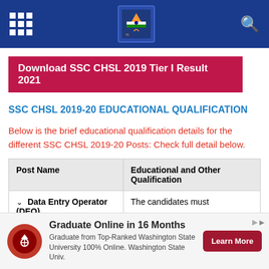SSC CHSL 2019 Tier I Result 2021 - Navigation bar
Download SSC CHSL 2019 Tier I Result 2021
SSC CHSL 2019-20 EDUCATIONAL QUALIFICATION
Below is the brief educational qualification details for the different SSC CHSL 2019-20 Posts: Check full detail below.
| Post Name | Educational and Other Qualification |
| --- | --- |
| Data Entry Operator (DEO) (except DEOs in C&AG). | The candidates must |
[Figure (advertisement): Ad banner: Graduate Online in 16 Months - Washington State University 100% Online. Learn More button.]